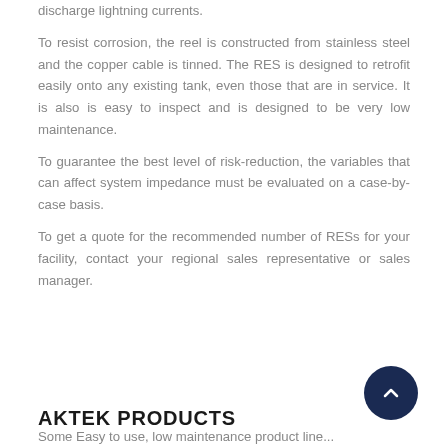discharge lightning currents. To resist corrosion, the reel is constructed from stainless steel and the copper cable is tinned. The RES is designed to retrofit easily onto any existing tank, even those that are in service. It is also is easy to inspect and is designed to be very low maintenance. To guarantee the best level of risk-reduction, the variables that can affect system impedance must be evaluated on a case-by-case basis. To get a quote for the recommended number of RESs for your facility, contact your regional sales representative or sales manager.
AKTEK PRODUCTS
Some Easy to use, low maintenance product line...